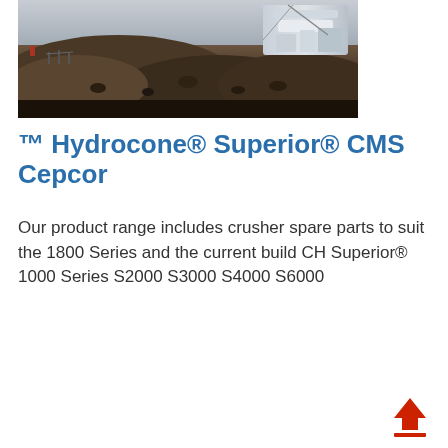[Figure (photo): Aerial or elevated view of a mining or quarrying site with heavy equipment, large mounds of crushed rock/earth, and industrial machinery in the background]
™ Hydrocone® Superior® CMS Cepcor
Our product range includes crusher spare parts to suit the 1800 Series and the current build CH Superior® 1000 Series S2000 S3000 S4000 S6000